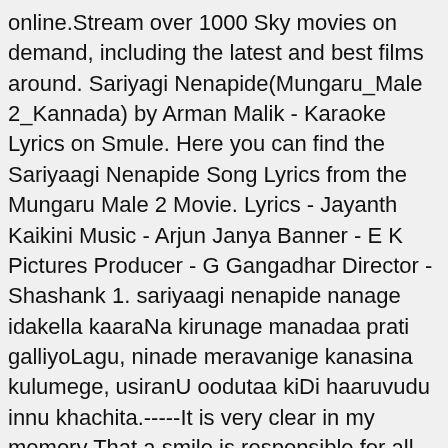online.Stream over 1000 Sky movies on demand, including the latest and best films around. Sariyagi Nenapide(Mungaru_Male 2_Kannada) by Arman Malik - Karaoke Lyrics on Smule. Here you can find the Sariyaagi Nenapide Song Lyrics from the Mungaru Male 2 Movie. Lyrics - Jayanth Kaikini Music - Arjun Janya Banner - E K Pictures Producer - G Gangadhar Director - Shashank 1. sariyaagi nenapide nanage idakella kaaraNa kirunage manadaa prati galliyoLagu, ninade meravanige kanasina kulumege, usiranU oodutaa kiDi haaruvudu innu khachita.-----It is very clear in my memory That a smile is responsible for all this 2 comments: Shweta 1 July 2020 at 00:11. Posts about sariyagi lyrics written by Apoorva Jnaan. theredu neenu muddada adhyaya idakella kaarana kiru nage. Listen to good music, download high speed mp3s for free. Idakella Kaarana Kirunage. Sariyagi Nenapide Nanage Idakella Kaarana Kirunageye. There's